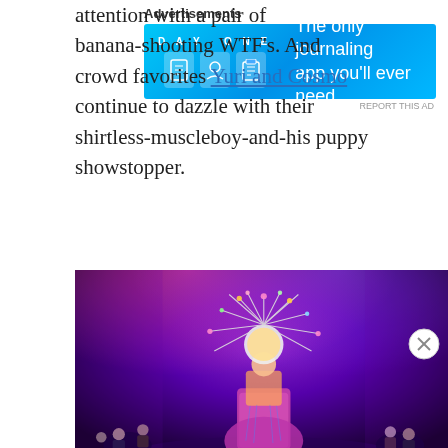attention with a pair of banana-shooting WTF's. And crowd favorites Yuri and Cosmo continue to dazzle with their shirtless-muscleboy-and-his puppy showstopper.
[Figure (photo): A performer on stage wearing an elaborate floral/starburst headdress with spikes radiating outward, dressed in colorful sequined costume, performing under purple and pink stage lighting with audience visible in background.]
Advertisements
[Figure (screenshot): DayOne app advertisement banner. Shows 'DAY ONE' logo with three app icons and text: 'The only journaling app you'll ever need.']